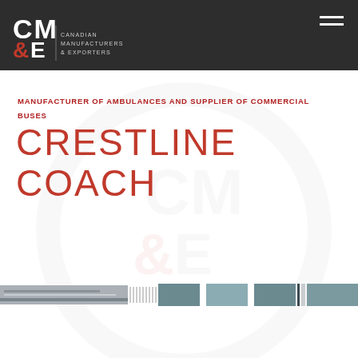[Figure (logo): CM&E Canadian Manufacturers & Exporters logo in white and red on dark grey header bar with hamburger menu icon]
MANUFACTURER OF AMBULANCES AND SUPPLIER OF COMMERCIAL BUSES
CRESTLINE COACH
[Figure (photo): Horizontal photo strip showing a bus/coach vehicle, partially visible, in a segmented collage style]